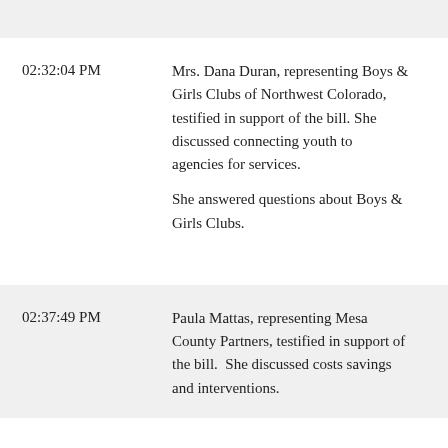02:32:04 PM — Mrs. Dana Duran, representing Boys & Girls Clubs of Northwest Colorado, testified in support of the bill. She discussed connecting youth to agencies for services. She answered questions about Boys & Girls Clubs.
02:37:49 PM — Paula Mattas, representing Mesa County Partners, testified in support of the bill. She discussed costs savings and interventions.